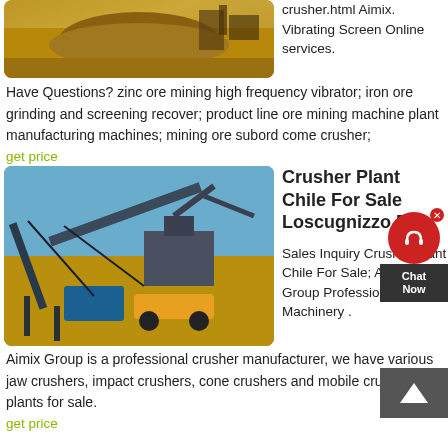[Figure (photo): Mining site photo showing a pile of ore/dirt on dry ground with machinery in background]
crusher.html Aimix. Vibrating Screen Online services.
Have Questions? zinc ore mining high frequency vibrator; iron ore grinding and screening recover; product line ore mining machine plant manufacturing machines; mining ore subord come crusher;
get price
[Figure (photo): Large industrial crusher plant and conveyor belt system at a mining site under blue sky]
Crusher Plant Chile For Sale Loscugnizzo.Be
Sales Inquiry Crusher Plant Chile For Sale; Aimix Group Professional Mining Machinery .
Aimix Group is a professional crusher manufacturer, we have various jaw crushers, impact crushers, cone crushers and mobile crusher plants for sale.
get price